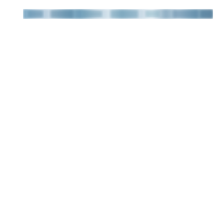[decorative header image with blurred blue/grey tones]